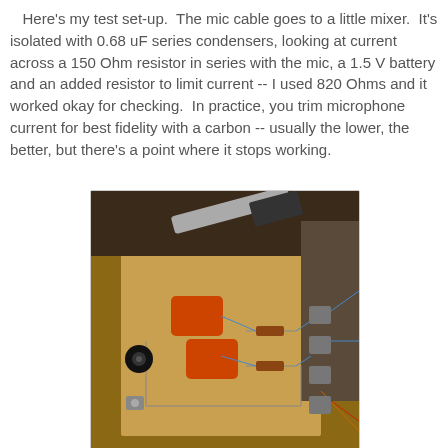Here's my test set-up. The mic cable goes to a little mixer. It's isolated with 0.68 uF series condensers, looking at current across a 150 Ohm resistor in series with the mic, a 1.5 V battery and an added resistor to limit current -- I used 820 Ohms and it worked okay for checking. In practice, you trim microphone current for best fidelity with a carbon -- usually the lower, the better, but there's a point where it stops working.
[Figure (photo): Photograph of an electronics test setup on a wooden board. Two orange capacitors (0.68 uF condensers) are visible in the center-left, along with resistors and wiring connecting various components including what appears to be connectors and terminals mounted on the board. A knife or tool is visible at the top, and blue and orange wires connect the components.]